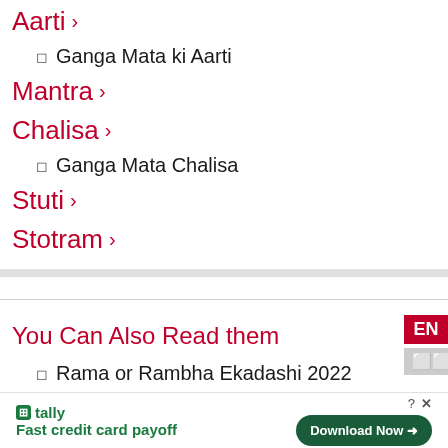Aarti ›
Ganga Mata ki Aarti
Mantra ›
Chalisa ›
Ganga Mata Chalisa
Stuti ›
Stotram ›
You Can Also Read them
Rama or Rambha Ekadashi 2022
tally Fast credit card payoff Download Now →